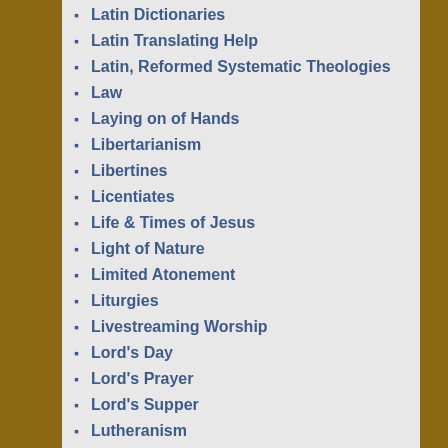Latin Dictionaries
Latin Translating Help
Latin, Reformed Systematic Theologies
Law
Laying on of Hands
Libertarianism
Libertines
Licentiates
Life & Times of Jesus
Light of Nature
Limited Atonement
Liturgies
Livestreaming Worship
Lord's Day
Lord's Prayer
Lord's Supper
Lutheranism
Magistrate's Power about Religion
Majority Text
Man – Image of God
Marriage
Marrow Controversy